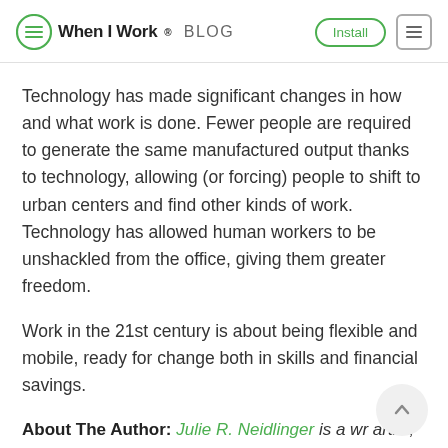When I Work BLOG | Install
Technology has made significant changes in how and what work is done. Fewer people are required to generate the same manufactured output thanks to technology, allowing (or forcing) people to shift to urban centers and find other kinds of work. Technology has allowed human workers to be unshackled from the office, giving them greater freedom.
Work in the 21st century is about being flexible and mobile, ready for change both in skills and financial savings.
About The Author: Julie R. Neidlinger is a wr... artist, and pilot from North Dakota. She has be...